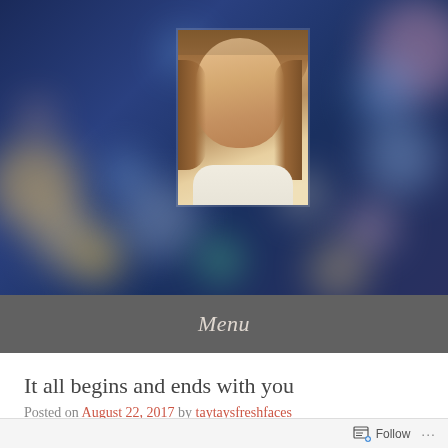[Figure (photo): Hero banner with bokeh city lights background in dark blue/purple tones, with a portrait photo of a smiling woman with long blonde hair centered at top]
Menu
It all begins and ends with you
Posted on August 22, 2017 by taytaysfreshfaces
Follow ...